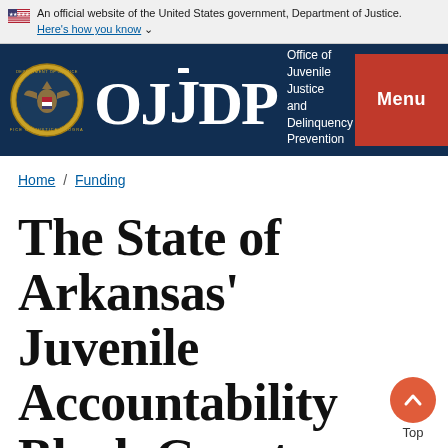An official website of the United States government, Department of Justice. Here's how you know
[Figure (logo): OJJDP Office of Juvenile Justice and Delinquency Prevention logo with DOJ seal on navy background, and red Menu button]
Home / Funding
The State of Arkansas' Juvenile Accountability Block Grant